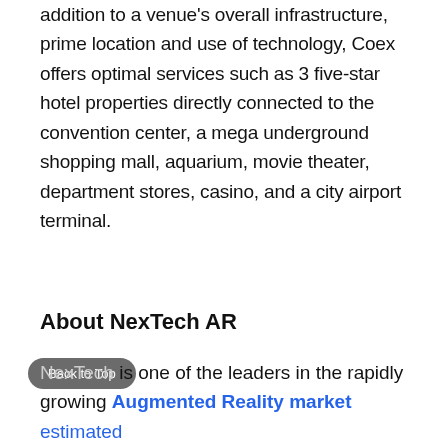addition to a venue's overall infrastructure, prime location and use of technology, Coex offers optimal services such as 3 five-star hotel properties directly connected to the convention center, a mega underground shopping mall, aquarium, movie theater, department stores, casino, and a city airport terminal.
About NexTech AR
NexTech is one of the leaders in the rapidly growing Augmented Reality market estimated